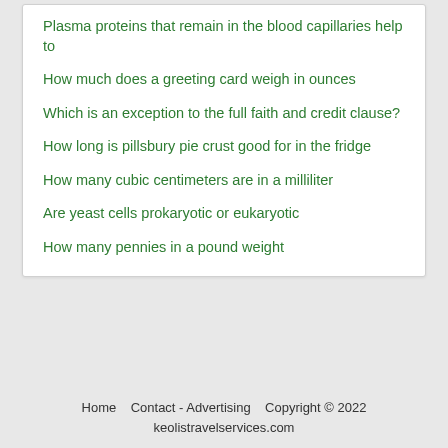Plasma proteins that remain in the blood capillaries help to
How much does a greeting card weigh in ounces
Which is an exception to the full faith and credit clause?
How long is pillsbury pie crust good for in the fridge
How many cubic centimeters are in a milliliter
Are yeast cells prokaryotic or eukaryotic
How many pennies in a pound weight
Home   Contact - Advertising   Copyright © 2022 keolistravelservices.com